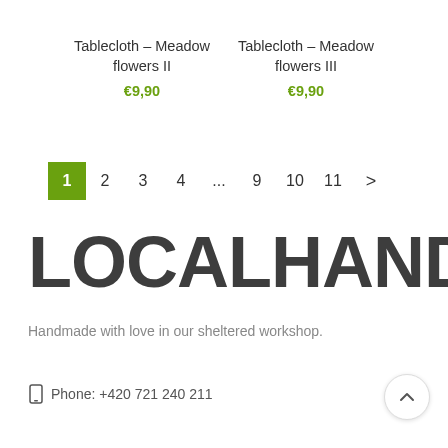Tablecloth – Meadow flowers II
€9,90
Tablecloth – Meadow flowers III
€9,90
1  2  3  4  ...  9  10  11  >
LOCALHAND
Handmade with love in our sheltered workshop.
Phone: +420 721 240 211